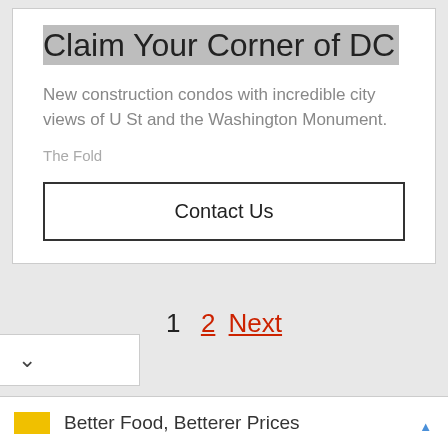Claim Your Corner of DC
New construction condos with incredible city views of U St and the Washington Monument.
The Fold
Contact Us
1  2  Next
Better Food, Betterer Prices